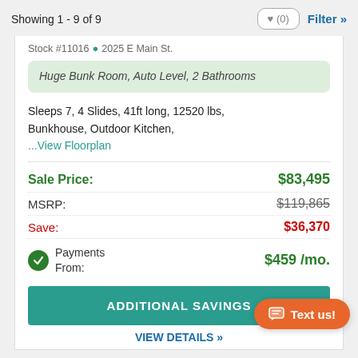Showing 1 - 9 of 9
Stock #11016  2025 E Main St.
Huge Bunk Room, Auto Level, 2 Bathrooms
Sleeps 7, 4 Slides, 41ft long, 12520 lbs, Bunkhouse, Outdoor Kitchen,
...View Floorplan
| Label | Value |
| --- | --- |
| Sale Price: | $83,495 |
| MSRP: | $119,865 |
| Save: | $36,370 |
| Payments From: | $459 /mo. |
ADDITIONAL SAVINGS
Text us!
VIEW DETAILS »